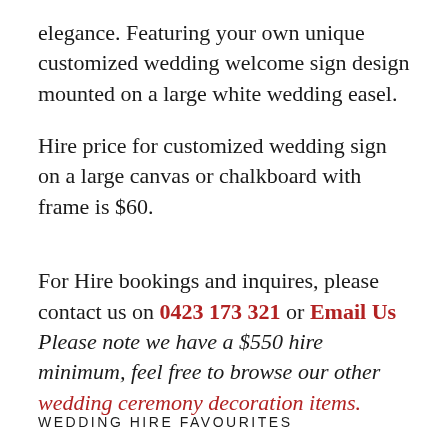elegance. Featuring your own unique customized wedding welcome sign design mounted on a large white wedding easel.
Hire price for customized wedding sign on a large canvas or chalkboard with frame is $60.
For Hire bookings and inquires, please contact us on 0423 173 321 or Email Us
Please note we have a $550 hire minimum, feel free to browse our other wedding ceremony decoration items.
WEDDING HIRE FAVOURITES